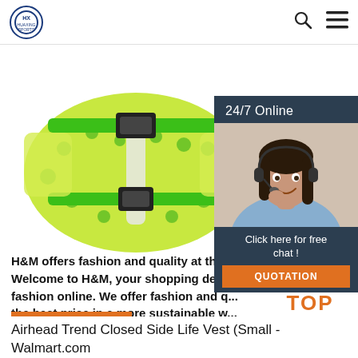HUAXING SPORTS
[Figure (photo): Children's green and yellow polka-dot life vest with green straps and black buckles, shown from the front]
[Figure (photo): 24/7 Online customer service panel with woman wearing headset and options: Click here for free chat, QUOTATION button]
H&M offers fashion and quality at the best price. Welcome to H&M, your shopping destination for fashion online. We offer fashion and quality at the best price in a more sustainable way.
Get Price
TOP
Airhead Trend Closed Side Life Vest (Small - Walmart.com